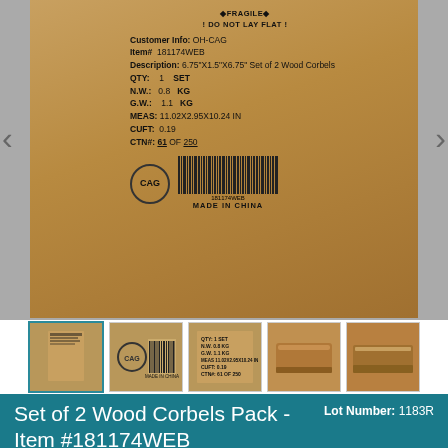[Figure (photo): A cardboard shipping box with a label showing customer info: OH-CAG, Item# 181174WEB, Description: 6.75"x1.5"x6.75" Set of 2 Wood Corbels, QTY: 1 SET, N.W.: 0.8 KG, G.W.: 1.1 KG, MEAS: 11.02x2.95x10.24 IN, CUFT: 0.19, CTN#: 61 OF 250. A CAG logo circle and barcode with text MADE IN CHINA are visible. Navigation arrows on left and right sides.]
[Figure (photo): Thumbnail 1 (active/selected): close-up of box with shipping label text]
[Figure (photo): Thumbnail 2: CAG barcode and MADE IN CHINA label]
[Figure (photo): Thumbnail 3: box label showing QTY, N.W., G.W., MEAS, CUFT, CTN# details]
[Figure (photo): Thumbnail 4: top view of wood corbels]
[Figure (photo): Thumbnail 5: side view of wood corbels in packaging]
Set of 2 Wood Corbels Pack - Item #181174WEB
Lot Number: 1183R